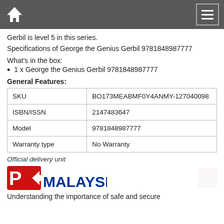Navigation bar with home icon and menu button
Gerbil is level 5 in this series.
Specifications of George the Genius Gerbil 9781848987777
What's in the box:
1 x George the Genius Gerbil 9781848987777
General Features:
|  |  |
| --- | --- |
| SKU | BO173MEABMF0Y4ANMY-127040098 |
| ISBN/ISSN | 2147483647 |
| Model | 9781848987777 |
| Warranty type | No Warranty |
Official delivery unit
[Figure (logo): POS MALAYSIA logo with red arrow and blue text]
Understanding the importance of safe and secure